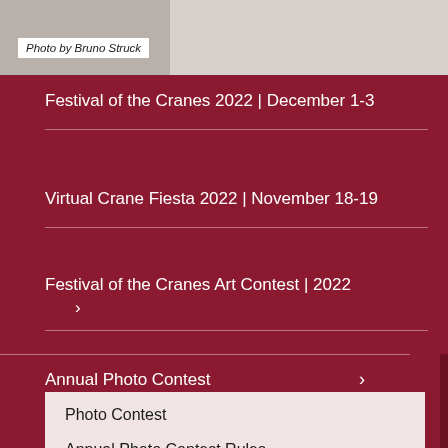[Figure (photo): Partial view of white cranes or birds at the top of the page]
Photo by Bruno Struck
Festival of the Cranes 2022 | December 1-3
Virtual Crane Fiesta 2022 | November 18-19
Festival of the Cranes Art Contest | 2022 >
Annual Photo Contest >
Photo Contest
Annual Photo Contest Rules